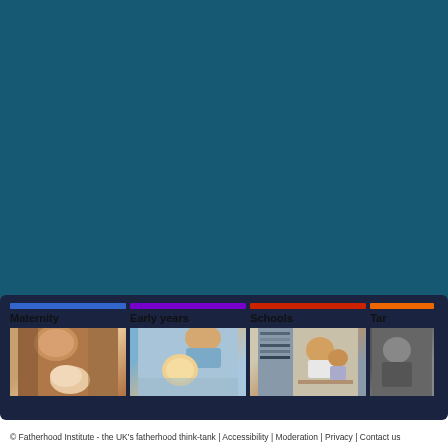[Figure (screenshot): Teal/dark blue background header area of a website]
[Figure (screenshot): Navigation panel with four category columns: Maternity (blue bar), Early years (purple bar), Schools (red bar), Tar... (orange bar), each with a photo below]
[Figure (photo): Photo under Maternity: adult holding a newborn baby]
[Figure (photo): Photo under Early years: adult looking at a baby/toddler]
[Figure (photo): Photo under Schools: man and child reading in a library]
[Figure (photo): Partially visible photo under Tar... category]
© Fatherhood Institute - the UK's fatherhood think-tank | Accessibility | Moderation | Privacy | Contact us